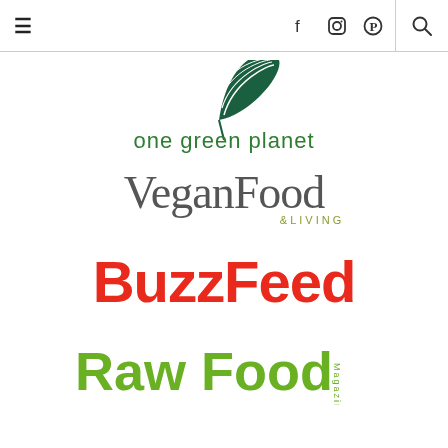≡  f  Instagram  Pinterest  🔍
[Figure (logo): One Green Planet logo — green leaf icon above the text 'one green planet' in green lowercase]
[Figure (logo): Vegan Food & Living logo — 'VeganFood' in large dark serif text with '&LIVING' in small olive/green caps]
[Figure (logo): BuzzFeed logo — 'BuzzFeed' in bold red text]
[Figure (logo): Raw Food Magazine logo — 'Raw Food' in large green text with 'Magazine' in small vertical green text on the right]